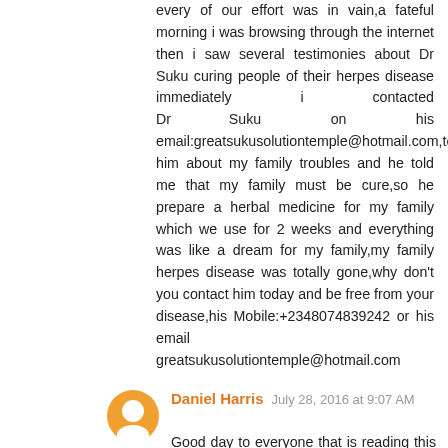every of our effort was in vain,a fateful morning i was browsing through the internet then i saw several testimonies about Dr Suku curing people of their herpes disease immediately i contacted Dr Suku on his email:greatsukusolutiontemple@hotmail.com,told him about my family troubles and he told me that my family must be cure,so he prepare a herbal medicine for my family which we use for 2 weeks and everything was like a dream for my family,my family herpes disease was totally gone,why don't you contact him today and be free from your disease,his Mobile:+2348074839242 or his email greatsukusolutiontemple@hotmail.com
Daniel Harris  July 28, 2016 at 9:07 AM
Good day to everyone that is reading this miraculous testimony, I want to testify of how i got cured from Herpes simplex with the help of a great Dr BAWADA, I got diagnosed of Herpes Simplex in 4 year, I have visited several hospitals but all to no avail, my world was really badly...